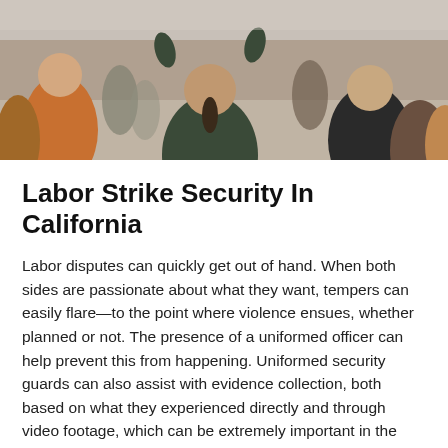[Figure (photo): Crowd of people outdoors, viewed from behind, some with hands raised. The scene appears to be a protest or strike gathering.]
Labor Strike Security In California
Labor disputes can quickly get out of hand. When both sides are passionate about what they want, tempers can easily flare—to the point where violence ensues, whether planned or not. The presence of a uniformed officer can help prevent this from happening. Uniformed security guards can also assist with evidence collection, both based on what they experienced directly and through video footage, which can be extremely important in the event of litigation or if criminal charges are pressed. Contact MPS Security today to arrange for protection during your company's